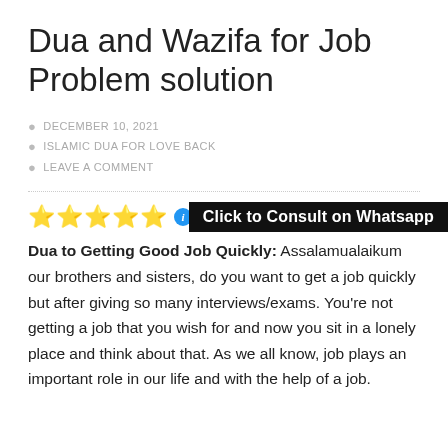Dua and Wazifa for Job Problem solution
DECEMBER 10, 2021
ISLAMIC DUA FOR LOVE BACK
LEAVE A COMMENT
3 Votes
Click to Consult on Whatsapp
Dua to Getting Good Job Quickly: Assalamualaikum our brothers and sisters, do you want to get a job quickly but after giving so many interviews/exams. You're not getting a job that you wish for and now you sit in a lonely place and think about that. As we all know, job plays an important role in our life and with the help of a job.